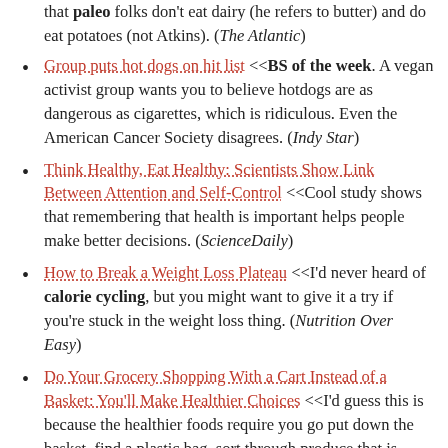that paleo folks don't eat dairy (he refers to butter) and do eat potatoes (not Atkins). (The Atlantic)
Group puts hot dogs on hit list <<BS of the week. A vegan activist group wants you to believe hotdogs are as dangerous as cigarettes, which is ridiculous. Even the American Cancer Society disagrees. (Indy Star)
Think Healthy, Eat Healthy: Scientists Show Link Between Attention and Self-Control <<Cool study shows that remembering that health is important helps people make better decisions. (ScienceDaily)
How to Break a Weight Loss Plateau <<I'd never heard of calorie cycling, but you might want to give it a try if you're stuck in the weight loss thing. (Nutrition Over Easy)
Do Your Grocery Shopping With a Cart Instead of a Basket: You'll Make Healthier Choices <<I'd guess this is because the healthier foods require you go put down the basket, find a plastic bag, sort through produce that is often wet and do other tasks that